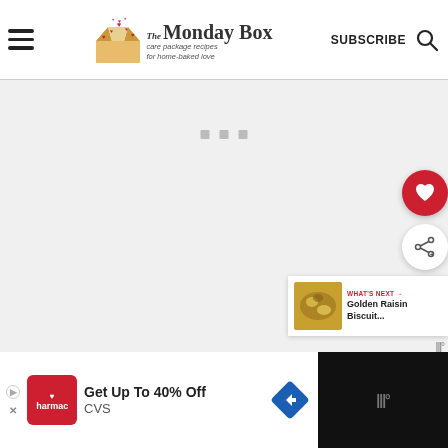The Monday Box — care package recipes for home-baked love | SUBSCRIBE
[Figure (screenshot): Gray content area with three small loading placeholder squares and social action buttons (heart, share) on the right side]
WHAT'S NEXT → Golden Raisin Biscuit...
[Figure (photo): Thumbnail image of Golden Raisin Biscuit food item]
[Figure (other): Advertisement banner: CVS Pharmacy - Get Up To 40% Off CVS]
Get Up To 40% Off CVS